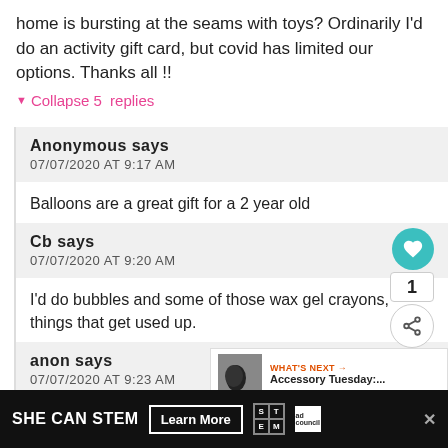home is bursting at the seams with toys? Ordinarily I'd do an activity gift card, but covid has limited our options. Thanks all !!
▼ Collapse 5 replies
Anonymous says
07/07/2020 AT 9:17 AM
Balloons are a great gift for a 2 year old
Cb says
07/07/2020 AT 9:20 AM
I'd do bubbles and some of those wax gel crayons, things that get used up.
anon says
07/07/2020 AT 9:23 AM
SHE CAN STEM  Learn More